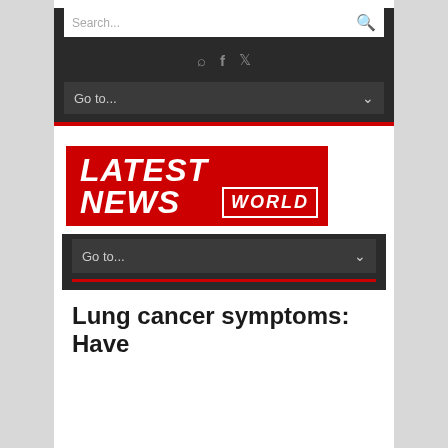Search...
[Figure (logo): Latest News World logo with red background, white bold italic text LATEST NEWS and WORLD in white border box]
Go to...
Lung cancer symptoms: Have